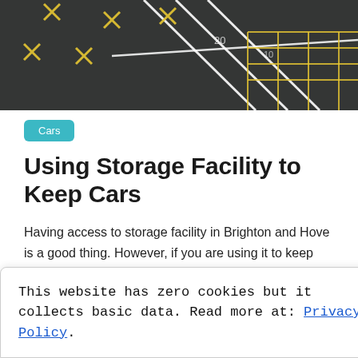[Figure (photo): Aerial view of a parking lot with yellow and white painted lines and markings on dark asphalt]
Cars
Using Storage Facility to Keep Cars
Having access to storage facility in Brighton and Hove is a good thing. However, if you are using it to keep your car, then you need to know a few things to ensure that it will not get damage throughout the time it is inside the storage unit.
This website has zero cookies but it collects basic data. Read more at: Privacy Policy.